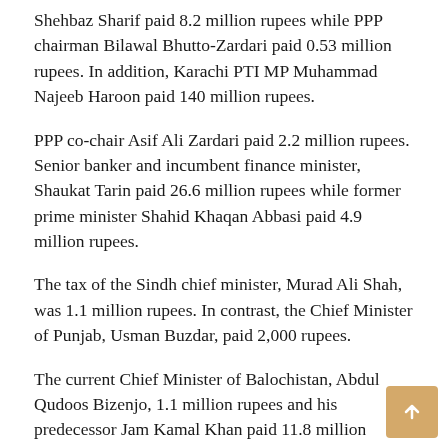Shehbaz Sharif paid 8.2 million rupees while PPP chairman Bilawal Bhutto-Zardari paid 0.53 million rupees. In addition, Karachi PTI MP Muhammad Najeeb Haroon paid 140 million rupees.
PPP co-chair Asif Ali Zardari paid 2.2 million rupees. Senior banker and incumbent finance minister, Shaukat Tarin paid 26.6 million rupees while former prime minister Shahid Khaqan Abbasi paid 4.9 million rupees.
The tax of the Sindh chief minister, Murad Ali Shah, was 1.1 million rupees. In contrast, the Chief Minister of Punjab, Usman Buzdar, paid 2,000 rupees.
The current Chief Minister of Balochistan, Abdul Qudoos Bizenjo, 1.1 million rupees and his predecessor Jam Kamal Khan paid 11.8 million rupees. Khyber Pakhtunkhwa Chief Minister Mahmood Khan paid 66,258 rupees.
Among the members of the federal cabinet, Foreign Minister